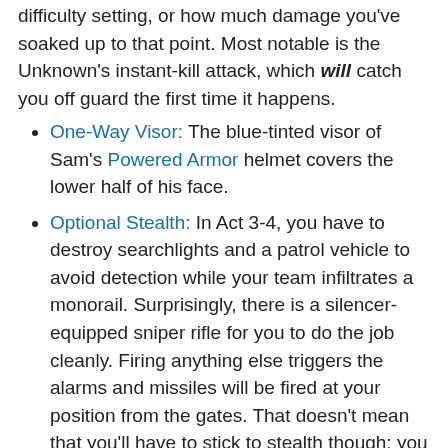difficulty setting, or how much damage you've soaked up to that point. Most notable is the Unknown's instant-kill attack, which will catch you off guard the first time it happens.
One-Way Visor: The blue-tinted visor of Sam's Powered Armor helmet covers the lower half of his face.
Optional Stealth: In Act 3-4, you have to destroy searchlights and a patrol vehicle to avoid detection while your team infiltrates a monorail. Surprisingly, there is a silencer-equipped sniper rifle for you to do the job cleanly. Firing anything else triggers the alarms and missiles will be fired at your position from the gates. That doesn't mean that you'll have to stick to stealth though; you can [icon] fire your weapons at the incoming missiles to deflect them one by one until your monorail reaches the gate.
Overheating: A core gameplay mechanic — several maneuvers such as melee attacks, power-sliding and Bullet Time as well as energy weapons like the Laser Cannon draw power from your ARS suit. An HUD, audio